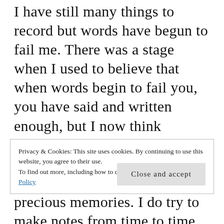I have still many things to record but words have begun to fail me. There was a stage when I used to believe that when words begin to fail you, you have said and written enough, but I now think otherwise. I have to conquer this situation before my failing memory robs me off those precious memories. I do try to make notes from time to time, but very few of those notes reach a completed state. As a result I have an almost equal score of published posts
Privacy & Cookies: This site uses cookies. By continuing to use this website, you agree to their use.
To find out more, including how to control cookies, see here: Cookie Policy
Close and accept